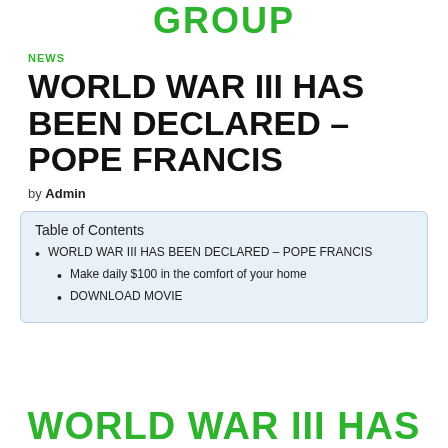GROUP
NEWS
WORLD WAR III HAS BEEN DECLARED – POPE FRANCIS
by Admin
| Table of Contents |
| WORLD WAR III HAS BEEN DECLARED – POPE FRANCIS |
| Make daily $100 in the comfort of your home |
| DOWNLOAD MOVIE |
WORLD WAR III HAS